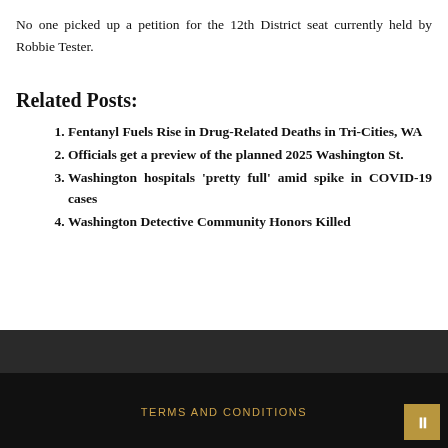No one picked up a petition for the 12th District seat currently held by Robbie Tester.
Related Posts:
Fentanyl Fuels Rise in Drug-Related Deaths in Tri-Cities, WA
Officials get a preview of the planned 2025 Washington St.
Washington hospitals 'pretty full' amid spike in COVID-19 cases
Washington Detective Community Honors Killed
TERMS AND CONDITIONS